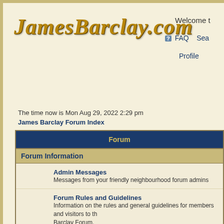JamesBarclay.com
Welcome t
FAQ  Sea  Profile
The time now is Mon Aug 29, 2022 2:29 pm
James Barclay Forum Index
Forum
Forum Information
Admin Messages
Messages from your friendly neighbourhood forum admins
Forum Rules and Guidelines
Information on the rules and general guidelines for members and visitors to the Barclay Forum.
Moderators James, Lizzy
James' Appearances
If you want to know where and when you can meet James, here's where to look.
Moderators James, Lizzy
The Raven
The Books
Dawnthief, Noonshade, Nightchild, Elfsorrow, Shadowheart, Demonstorm and Ravensoul... chat here about The Raven, fantasy's favourite cult heroes.